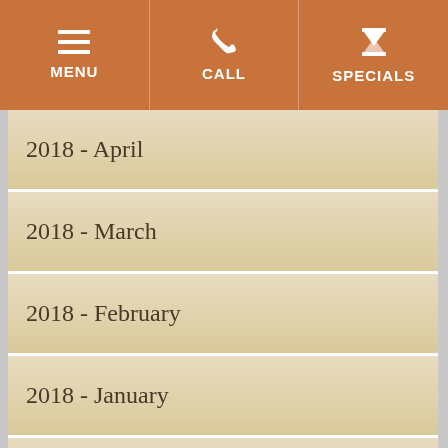MENU  CALL  SPECIALS
2018 - April
2018 - March
2018 - February
2018 - January
2017 - November
2017 - October